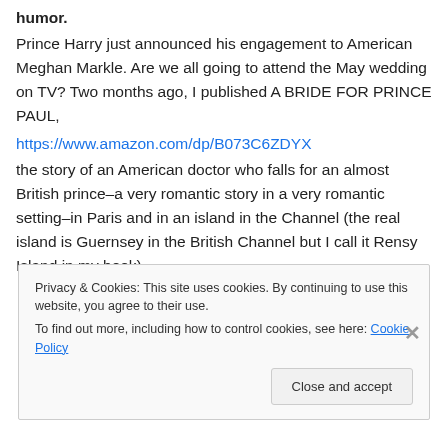humor. Prince Harry just announced his engagement to American Meghan Markle. Are we all going to attend the May wedding on TV? Two months ago, I published A BRIDE FOR PRINCE PAUL, https://www.amazon.com/dp/B073C6ZDYX the story of an American doctor who falls for an almost British prince–a very romantic story in a very romantic setting–in Paris and in an island in the Channel (the real island is Guernsey in the British Channel but I call it Rensy Island in my book).
Privacy & Cookies: This site uses cookies. By continuing to use this website, you agree to their use. To find out more, including how to control cookies, see here: Cookie Policy